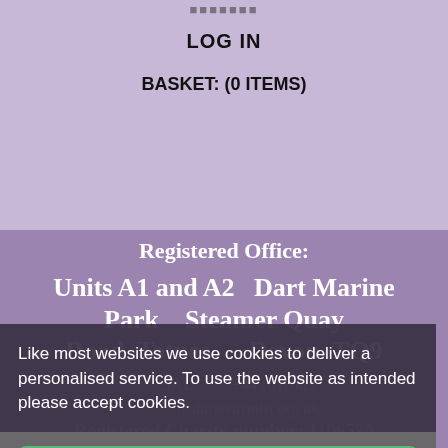LOG IN
BASKET: (0 ITEMS)
Registered Office:
Units A1 and A2   Dart Marine Park   Steamer Quay Road  Totnes    Devon  TQ9 5AL    +44 (0)1883
@dartseaymist.org.uk
Registered Charity number: 1106530
Like most websites we use cookies to deliver a personalised service. To use the website as intended please accept cookies.
Accept Cookies